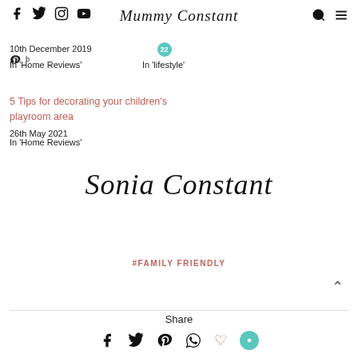Mummy Constant — social icons: facebook, twitter, instagram, youtube, search, menu
10th December 2019
In 'Home Reviews'
22
In 'lifestyle'
5 Tips for decorating your children's playroom area
26th May 2021
In 'Home Reviews'
[Figure (illustration): Cursive signature reading 'Sonia Constant']
#FAMILY FRIENDLY
Share
Share icons: facebook, twitter, pinterest, whatsapp, heart, teal circle